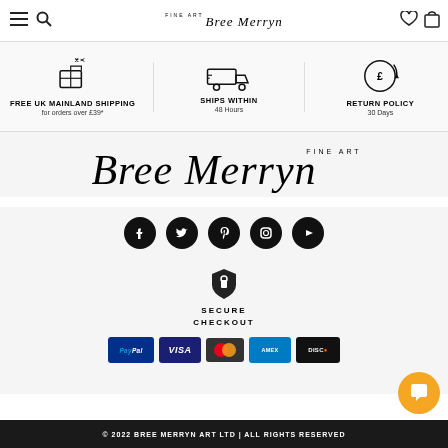Bree Merryn Fine Art – navigation header with menu, search, wishlist and cart icons
FREE UK MAINLAND SHIPPING – for orders over £39*
SHIPS WITHIN – 48 Hours
RETURN POLICY – 30 Days
[Figure (logo): Bree Merryn Fine Art script logo (large)]
[Figure (infographic): Social media icons: Facebook, Twitter, Pinterest, Instagram, YouTube]
[Figure (infographic): Secure checkout shield icon with payment badges: PayPal, Visa, Mastercard, Amex, Discover]
© 2022 BREE MERRYN ART LTD | ALL RIGHTS RESERVED